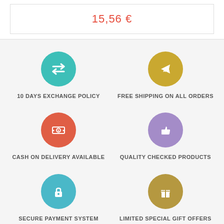15,56 €
[Figure (infographic): Six feature icons in a 2x3 grid on a light grey background: teal exchange arrows (10 Days Exchange Policy), gold airplane (Free Shipping on All Orders), red cash/dollar (Cash on Delivery Available), purple thumbs up (Quality Checked Products), blue padlock (Secure Payment System), dark gold gift box (Limited Special Gift Offers).]
10 DAYS EXCHANGE POLICY
FREE SHIPPING ON ALL ORDERS
CASH ON DELIVERY AVAILABLE
QUALITY CHECKED PRODUCTS
SECURE PAYMENT SYSTEM
LIMITED SPECIAL GIFT OFFERS